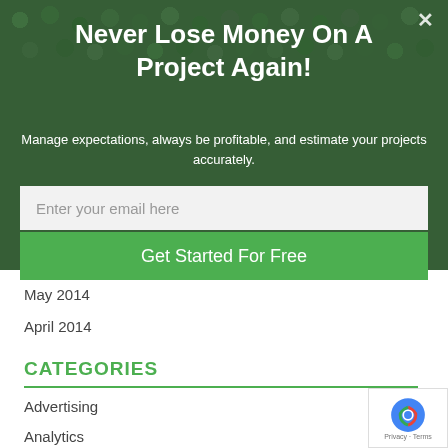Never Lose Money On A Project Again!
Manage expectations, always be profitable, and estimate your projects accurately.
Enter your email here
Get Started For Free
May 2014
April 2014
CATEGORIES
Advertising
Analytics